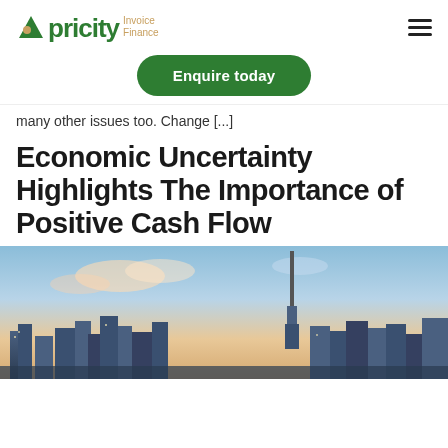Apricity Invoice Finance
Enquire today
many other issues too.  Change [...]
Economic Uncertainty Highlights The Importance of Positive Cash Flow
[Figure (photo): City skyline photograph at sunset/dusk showing Auckland CBD with Sky Tower visible, warm golden and blue tones in the sky with clouds]